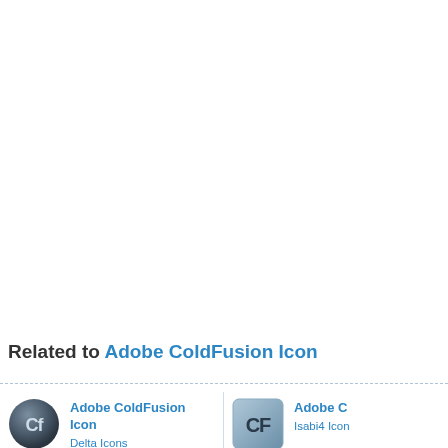[Figure (other): Large white/blank area at top of page (main content area above the fold)]
Related to Adobe ColdFusion Icon
[Figure (illustration): Adobe ColdFusion Icon (old style, dark gray sphere with 'Cf' text)]
Adobe ColdFusion Icon
Delta Icons
[Figure (illustration): Adobe ColdFusion Icon (modern style, blue/gray square with 'CF' text) — partially cropped on right]
Adobe C...
Isabi4 Icon...